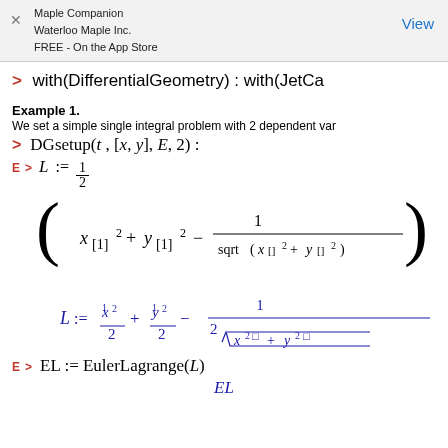Maple Companion
Waterloo Maple Inc.
FREE - On the App Store
View
Example 1.
We set a simple single integral problem with 2 dependent var...